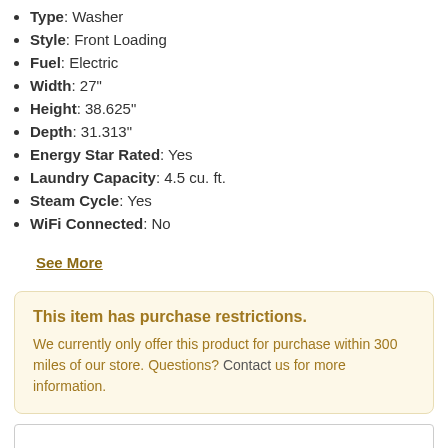Type: Washer
Style: Front Loading
Fuel: Electric
Width: 27"
Height: 38.625"
Depth: 31.313"
Energy Star Rated: Yes
Laundry Capacity: 4.5 cu. ft.
Steam Cycle: Yes
WiFi Connected: No
See More
This item has purchase restrictions. We currently only offer this product for purchase within 300 miles of our store. Questions? Contact us for more information.
Call for Our Best Price
Enter Zip Code *